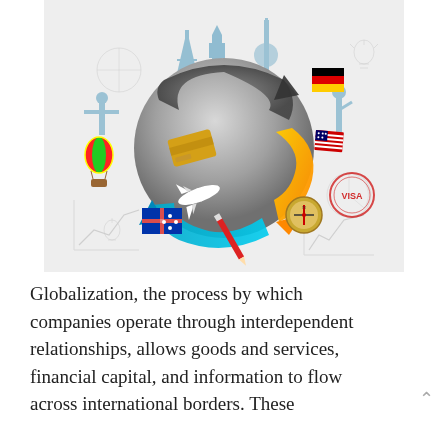[Figure (illustration): Globalization illustration: a stylized globe with circular arrows (gray, orange, blue) surrounded by world landmarks (Eiffel Tower, Big Ben, Statue of Liberty, Christ the Redeemer), flags (Germany, Australia, USA), a credit card, an airplane, a compass, a hot air balloon, a visa stamp, and faint background sketches of charts and graphs, all on a light gray background.]
Globalization, the process by which companies operate through interdependent relationships, allows goods and services, financial capital, and information to flow across international borders. These